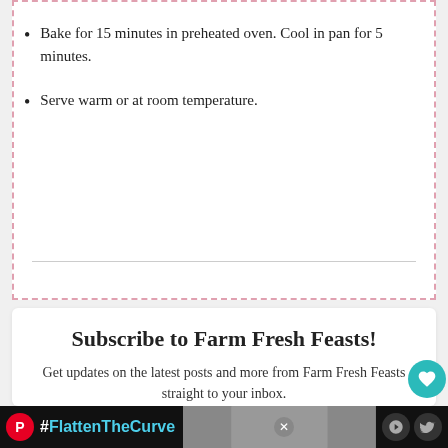Bake for 15 minutes in preheated oven. Cool in pan for 5 minutes.
Serve warm or at room temperature.
Subscribe to Farm Fresh Feasts!
Get updates on the latest posts and more from Farm Fresh Feasts straight to your inbox.
Your Email...
SUBSCRIBE
I consent to receiving emails and personalized ads.